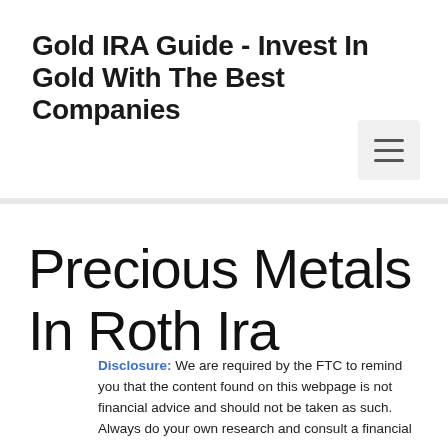Gold IRA Guide - Invest In Gold With The Best Companies
Precious Metals In Roth Ira
Disclosure: We are required by the FTC to remind you that the content found on this webpage is not financial advice and should not be taken as such. Always do your own research and consult a financial